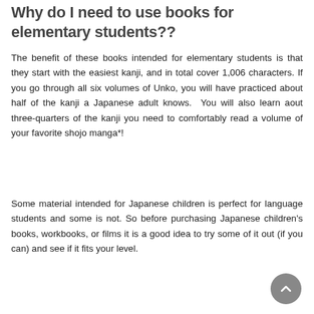Why do I need to use books for elementary students??
The benefit of these books intended for elementary students is that they start with the easiest kanji, and in total cover 1,006 characters. If you go through all six volumes of Unko, you will have practiced about half of the kanji a Japanese adult knows.  You will also learn aout three-quarters of the kanji you need to comfortably read a volume of your favorite shojo manga*!
Some material intended for Japanese children is perfect for language students and some is not. So before purchasing Japanese children's books, workbooks, or films it is a good idea to try some of it out (if you can) and see if it fits your level.